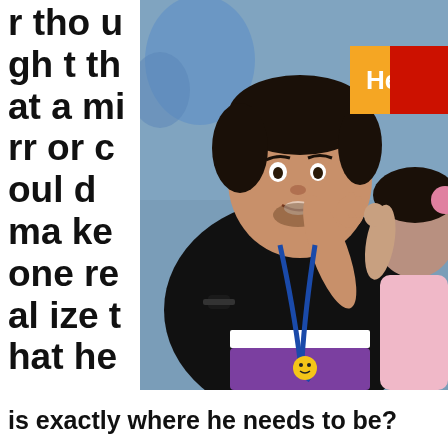[Figure (photo): A man wearing a black shirt and blue lanyard with a smiley face badge gestures with his hand, speaking to a young child in a pink outfit. Blue balloons are visible in the background. An orange 'Help Now' button and a red block overlay the top right of the image.]
r thought that a mirror could make one realize that he
Help Now
is exactly where he needs to be?